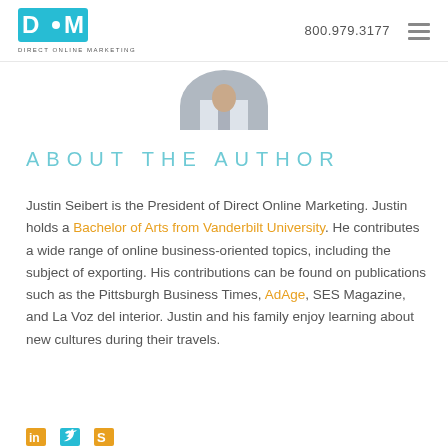DOM Direct Online Marketing | 800.979.3177
[Figure (photo): Partial photo of a person in a suit, cropped at the top showing shoulders and lower face, centered at top of content area]
ABOUT THE AUTHOR
Justin Seibert is the President of Direct Online Marketing. Justin holds a Bachelor of Arts from Vanderbilt University. He contributes a wide range of online business-oriented topics, including the subject of exporting. His contributions can be found on publications such as the Pittsburgh Business Times, AdAge, SES Magazine, and La Voz del interior. Justin and his family enjoy learning about new cultures during their travels.
View Justin's full bio.
[Figure (logo): Social media icons: LinkedIn, Twitter, Skype]